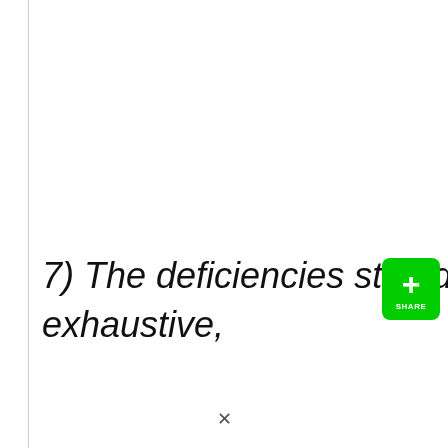7) The deficiencies stated herein are not meant to be exhaustive,